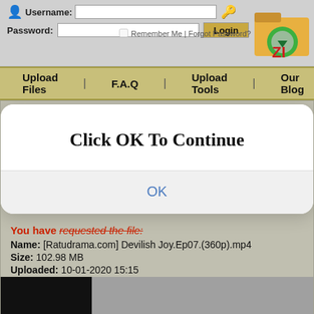[Figure (screenshot): Login form with Username and Password fields, Login button, Remember Me checkbox, and folder/zip logo in top right]
Upload Files | F.A.Q | Upload Tools | Our Blog | Contact Us
[Figure (screenshot): Modal dialog popup with title 'Click OK To Continue' and an OK button]
You have requested the file:
Name: [Ratudrama.com] Devilish Joy.Ep07.(360p).mp4
Size: 102.98 MB
Uploaded: 10-01-2020 15:15